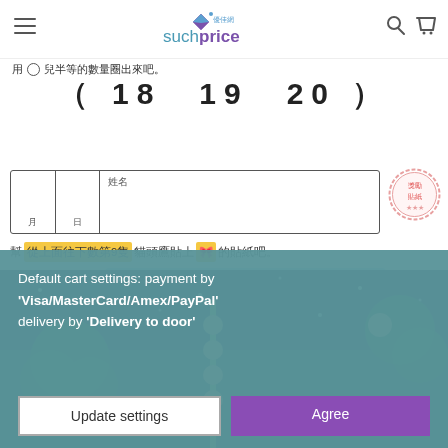suchprice 優佳網
用〇兒半等的數量圈出來吧。
（ 18　19　20 ）
序數　數數看 第幾個
姓名　月　日
幫 從上面往下數第9隻 貓頭鷹貼上 🎀 的貼紙吧。
[Figure (illustration): Cartoon illustration with koala characters on a ladder against a dark blue starry background with trees]
Default cart settings: payment by 'Visa/MasterCard/Amex/PayPal' delivery by 'Delivery to door'
Update settings
Agree